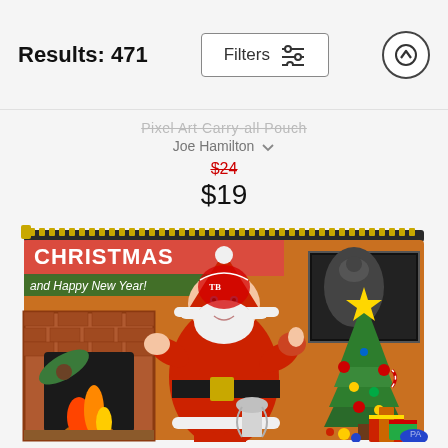Results: 471
Pixel Art Carry-all Pouch
Joe Hamilton
$24
$19
[Figure (photo): A carry-all pouch featuring a cartoon Santa Claus wearing a Tampa Bay Buccaneers helmet, standing by a fireplace with a Christmas tree, ornaments, gifts, and a football trophy. Text reads 'CHRISTMAS and Happy New Year!']